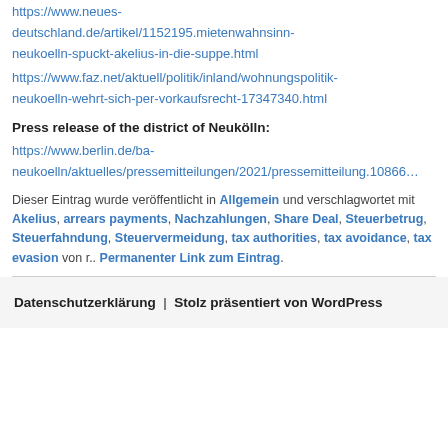https://www.neues-deutschland.de/artikel/1152195.mietenwahnsinn-neukoelln-spuckt-akelius-in-die-suppe.html
https://www.faz.net/aktuell/politik/inland/wohnungspolitik-neukoelln-wehrt-sich-per-vorkaufsrecht-17347340.html
Press release of the district of Neukölln:
https://www.berlin.de/ba-neukoelln/aktuelles/pressemitteilungen/2021/pressemitteilung.10866…
Dieser Eintrag wurde veröffentlicht in Allgemein und verschlagwortet mit Akelius, arrears payments, Nachzahlungen, Share Deal, Steuerbetrug, Steuerfahndung, Steuervermeidung, tax authorities, tax avoidance, tax evasion von r.. Permanenter Link zum Eintrag.
Datenschutzerklärung  |  Stolz präsentiert von WordPress